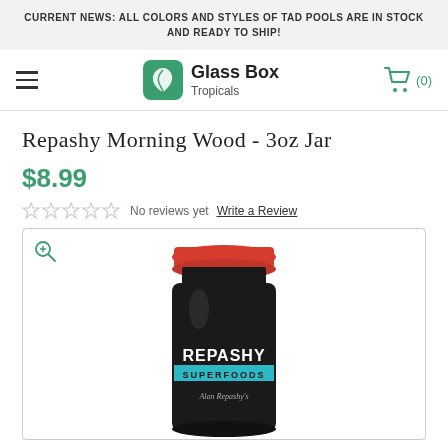CURRENT NEWS: ALL COLORS AND STYLES OF TAD POOLS ARE IN STOCK AND READY TO SHIP!
[Figure (logo): Glass Box Tropicals logo with green leaf icon and cart icon showing (0)]
Repashy Morning Wood - 3oz Jar
$8.99
No reviews yet  Write a Review
[Figure (photo): Repashy Morning Wood 3oz jar with red lid and black label reading REPASHY SUPERFOODS]